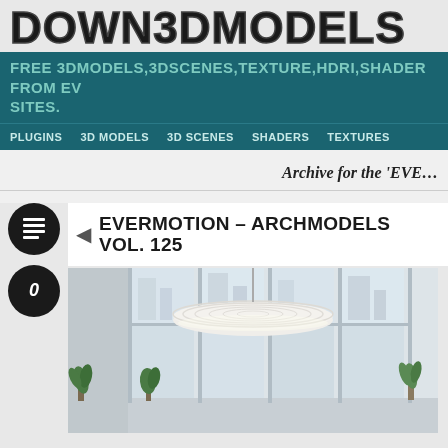DOWN3DMODELS
FREE 3DMODELS,3DSCENES,TEXTURE,HDRI,SHADER FROM EV SITES.
PLUGINS   3D MODELS   3D SCENES   SHADERS   TEXTURES
Archive for the 'EVE…
EVERMOTION – ARCHMODELS VOL. 125
[Figure (photo): Interior room scene with a large flat oval white pendant lamp hanging from ceiling, floor-to-ceiling windows with city view, and potted plants on the floor]